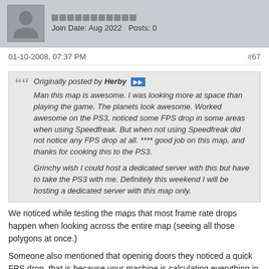Join Date: Aug 2022  Posts: 0
01-10-2008, 07:37 PM  #67
Originally posted by Herby
Man this map is awesome. I was looking more at space than playing the game. The planets look awesome. Worked awesome on the PS3, noticed some FPS drop in some areas when using Speedfreak. But when not using Speedfreak did not notice any FPS drop at all. **** good job on this map, and thanks for cooking this to the PS3.

Grinchy wish I could host a dedicated server with this but have to take the PS3 with me. Definitely this weekend I will be hosting a dedicated server with this map only.
We noticed while testing the maps that most frame rate drops happen when looking across the entire map (seeing all those polygons at once.)
Someone also mentioned that opening doors they noticed a quick FPS drop, that is because your machine is calculating everything in the interior all at once.
Again, I hope people are not having too much trouble, we dropped as many polygons as we could.